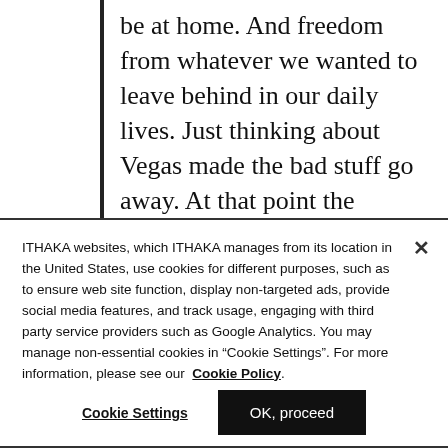be at home. And freedom from whatever we wanted to leave behind in our daily lives. Just thinking about Vegas made the bad stuff go away. At that point the strategy became clear. Speak to that need. Make an indelible connection between Las Vegas and the
ITHAKA websites, which ITHAKA manages from its location in the United States, use cookies for different purposes, such as to ensure web site function, display non-targeted ads, provide social media features, and track usage, engaging with third party service providers such as Google Analytics. You may manage non-essential cookies in “Cookie Settings”. For more information, please see our Cookie Policy.
Cookie Settings
OK, proceed